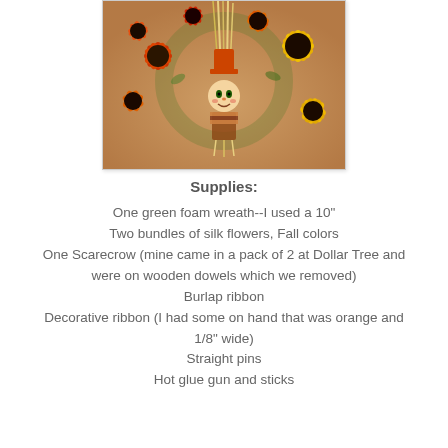[Figure (photo): A fall/autumn wreath made of silk sunflowers in orange, red, and yellow colors with a scarecrow decoration in the center, displayed on a warm beige/peach background.]
Supplies:
One green foam wreath--I used a 10"
Two bundles of silk flowers, Fall colors
One Scarecrow (mine came in a pack of 2 at Dollar Tree and were on wooden dowels which we removed)
Burlap ribbon
Decorative ribbon (I had some on hand that was orange and 1/8" wide)
Straight pins
Hot glue gun and sticks